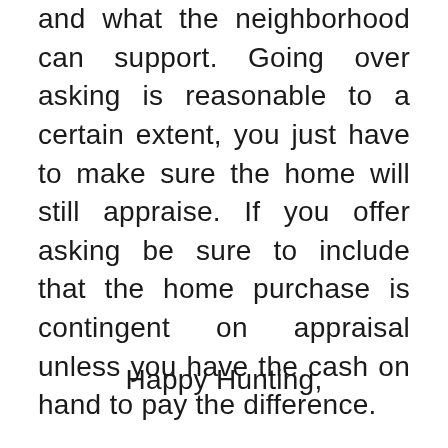and what the neighborhood can support. Going over asking is reasonable to a certain extent, you just have to make sure the home will still appraise. If you offer asking be sure to include that the home purchase is contingent on appraisal unless you have the cash on hand to pay the difference.
Happy Hunting,